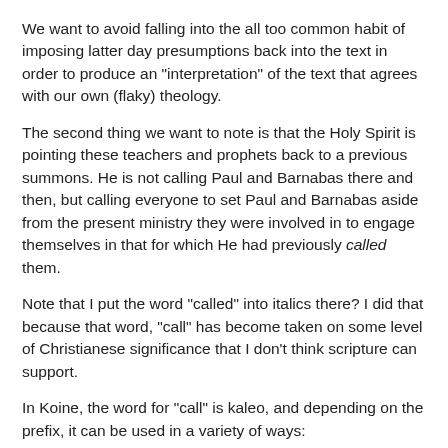We want to avoid falling into the all too common habit of imposing latter day presumptions back into the text in order to produce an "interpretation" of the text that agrees with our own (flaky) theology.
The second thing we want to note is that the Holy Spirit is pointing these teachers and prophets back to a previous summons. He is not calling Paul and Barnabas there and then, but calling everyone to set Paul and Barnabas aside from the present ministry they were involved in to engage themselves in that for which He had previously called them.
Note that I put the word "called" into italics there? I did that because that word, "call" has become taken on some level of Christianese significance that I don't think scripture can support.
In Koine, the word for "call" is kaleo, and depending on the prefix, it can be used in a variety of ways:
en-kaleo: to "call against" or to "accuse"
The Koine word for "call" is kaleo, and depending on the